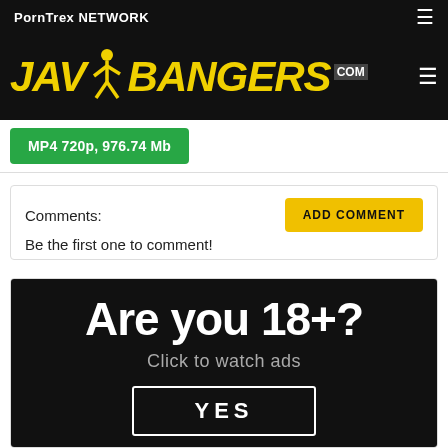PornTrex NETWORK
[Figure (logo): JAV Bangers .com logo in yellow italic bold font on black background]
MP4 720p, 976.74 Mb
Comments:
Be the first one to comment!
ADD COMMENT
[Figure (infographic): Age verification ad banner on black background reading: Are you 18+? Click to watch ads, YES button]